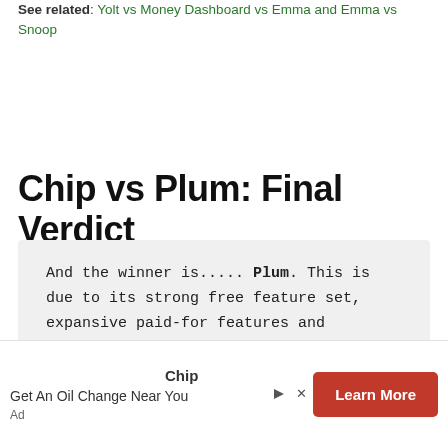See related: Yolt vs Money Dashboard vs Emma and Emma vs Snoop
Chip vs Plum: Final Verdict
And the winner is..... Plum. This is due to its strong free feature set, expansive paid-for features and accessible route into investing.
Chip
Get An Oil Change Near You
Learn More
Ad